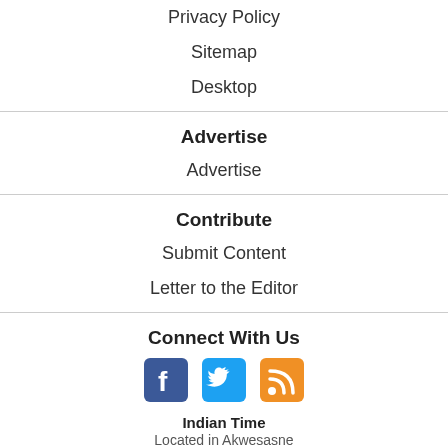Privacy Policy
Sitemap
Desktop
Advertise
Advertise
Contribute
Submit Content
Letter to the Editor
Connect With Us
[Figure (infographic): Social media icons: Facebook (blue), Twitter (blue bird), RSS (orange)]
Indian Time
Located in Akwesasne